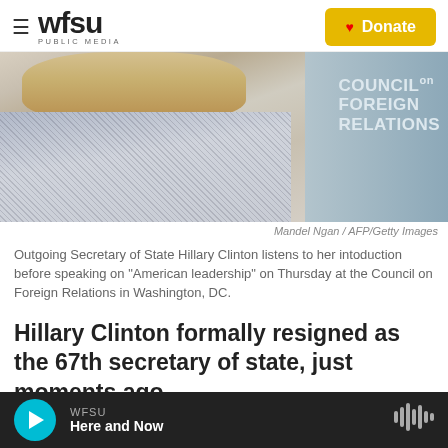wfsu PUBLIC MEDIA | Donate
[Figure (photo): Outgoing Secretary of State Hillary Clinton at the Council on Foreign Relations, looking to the side wearing a patterned jacket and pearl necklace. Background shows 'COUNCIL ON FOREIGN RELATIONS' text.]
Mandel Ngan / AFP/Getty Images
Outgoing Secretary of State Hillary Clinton listens to her intoduction before speaking on "American leadership" on Thursday at the Council on Foreign Relations in Washington, DC.
Hillary Clinton formally resigned as the 67th secretary of state, just moments ago.
In a letter to President Obama, she said it was an
WFSU Here and Now